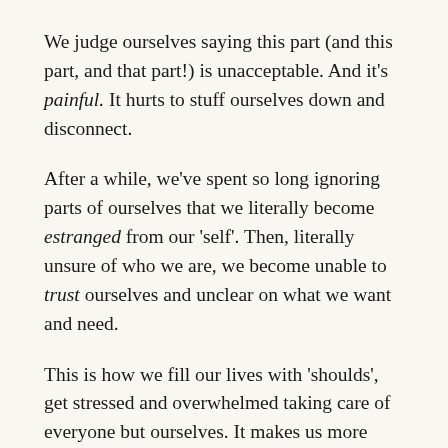We judge ourselves saying this part (and this part, and that part!) is unacceptable. And it's painful. It hurts to stuff ourselves down and disconnect.
After a while, we've spent so long ignoring parts of ourselves that we literally become estranged from our 'self'. Then, literally unsure of who we are, we become unable to trust ourselves and unclear on what we want and need.
This is how we fill our lives with 'shoulds', get stressed and overwhelmed taking care of everyone but ourselves. It makes us more easily swayed and manipulated by life circumstances—and others. And this is how